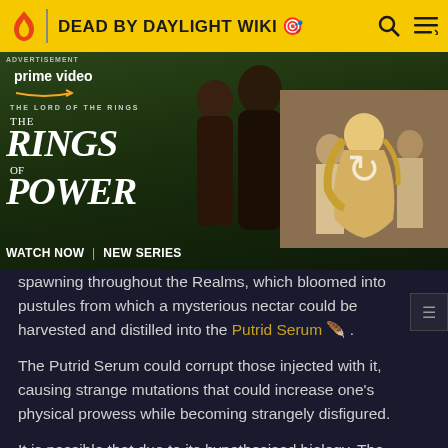DEAD BY DAYLIGHT WIKI
[Figure (screenshot): Advertisement for Amazon Prime Video 'The Lord of the Rings: The Rings of Power' series. Shows two characters on the left against a green field background, with 'WATCH NOW | NEW SERIES' text. Right side shows a reload icon over a secondary image of figures in white robes.]
spawning throughout the Realms, which bloomed into pustules from which a mysterious nectar could be harvested and distilled into the Putrid Serum 🐦 .
The Putrid Serum could corrupt those injected with it, causing strange mutations that could increase one's physical prowess while becoming strangely disfigured.
It is possible that due to its hypothesised biology, The Entity is, at its core, a plant-like organism, as blight is a